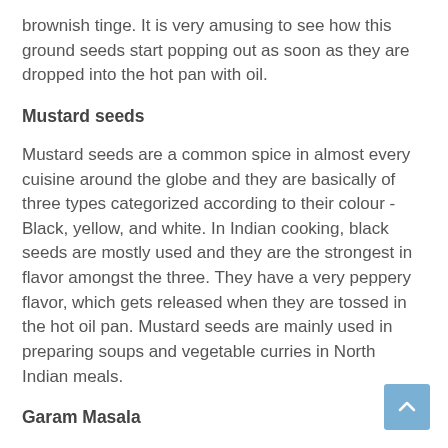brownish tinge. It is very amusing to see how this ground seeds start popping out as soon as they are dropped into the hot pan with oil.
Mustard seeds
Mustard seeds are a common spice in almost every cuisine around the globe and they are basically of three types categorized according to their colour - Black, yellow, and white. In Indian cooking, black seeds are mostly used and they are the strongest in flavor amongst the three. They have a very peppery flavor, which gets released when they are tossed in the hot oil pan. Mustard seeds are mainly used in preparing soups and vegetable curries in North Indian meals.
Garam Masala
This spice is inseparable to Indian cooking, especially for the non-vegetarian dishes. Chicken